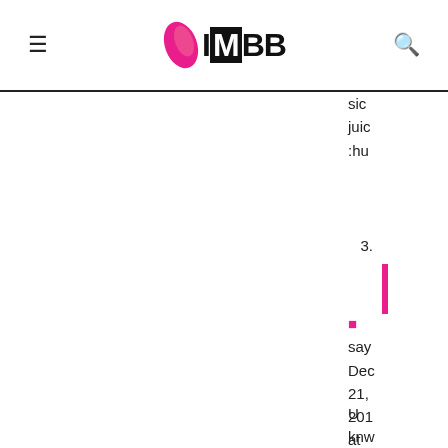IMBB - navigation header with hamburger menu, logo, and search icon
sic
juic
:hu
3.
say
Dec 21, 201 at 6:23 pm
U knw she ma